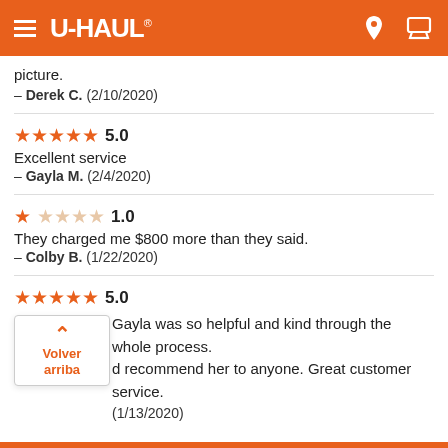U-HAUL
picture.
— Derek C.  (2/10/2020)
★★★★★ 5.0
Excellent service
— Gayla M.  (2/4/2020)
★☆☆☆☆ 1.0
They charged me $800 more than they said.
— Colby B.  (1/22/2020)
★★★★★ 5.0
Gayla was so helpful and kind through the whole process. d recommend her to anyone. Great customer service.
(1/13/2020)